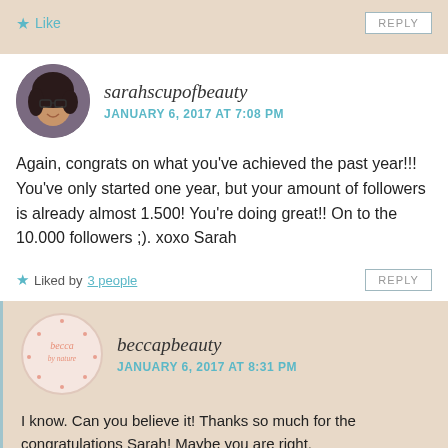Like
REPLY
sarahscupofbeauty
JANUARY 6, 2017 AT 7:08 PM
Again, congrats on what you've achieved the past year!!! You've only started one year, but your amount of followers is already almost 1.500! You're doing great!! On to the 10.000 followers ;). xoxo Sarah
Liked by 3 people
REPLY
beccapbeauty
JANUARY 6, 2017 AT 8:31 PM
I know. Can you believe it! Thanks so much for the congratulations Sarah! Maybe you are right,